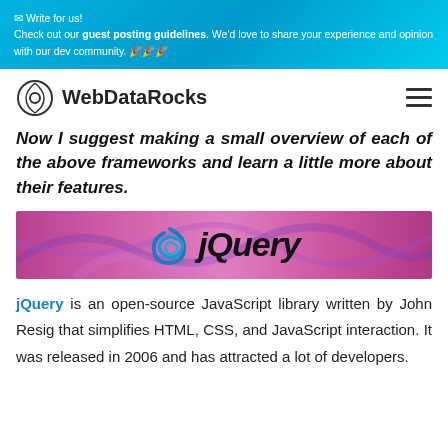✉ Write for us! Check out our guest posting guidelines. We'd love to share your experience and opinion with our dev community. 🎉🎉🎉
WebDataRocks
Now I suggest making a small overview of each of the above frameworks and learn a little more about their features.
[Figure (logo): jQuery logo banner with pink/purple gradient background and jQuery text in bold italic]
jQuery is an open-source JavaScript library written by John Resig that simplifies HTML, CSS, and JavaScript interaction. It was released in 2006 and has attracted a lot of developers.